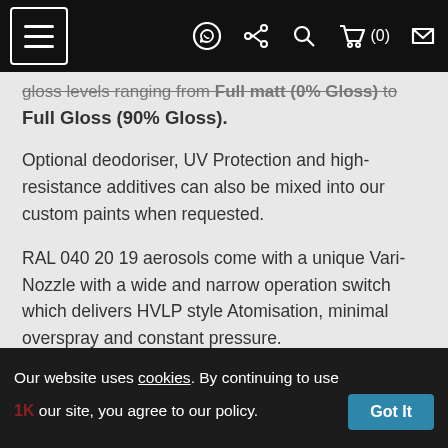[Navigation bar with hamburger menu, WhatsApp icon, share icon, search icon, cart (0), and mail icon]
gloss levels ranging from Full matt (0% Gloss) to Full Gloss (90% Gloss).
Optional deodoriser, UV Protection and high-resistance additives can also be mixed into our custom paints when requested.
RAL 040 20 19 aerosols come with a unique Vari-Nozzle with a wide and narrow operation switch which delivers HVLP style Atomisation, minimal overspray and constant pressure.
Please note that 2K aerosol spray paint cans are only available as Acrylic Enamel.
1K our site, you agree to our policy.
Our website uses cookies. By continuing to use our site, you agree to our policy. Got It